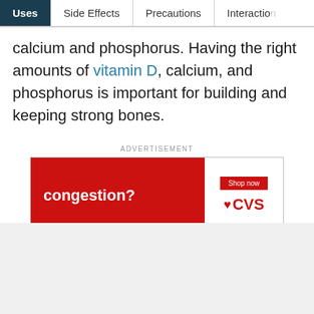Uses | Side Effects | Precautions | Interactions
calcium and phosphorus. Having the right amounts of vitamin D, calcium, and phosphorus is important for building and keeping strong bones.
ADVERTISEMENT
[Figure (other): CVS pharmacy advertisement banner showing 'congestion?' text on red background with CVS logo and Shop now button on white background]